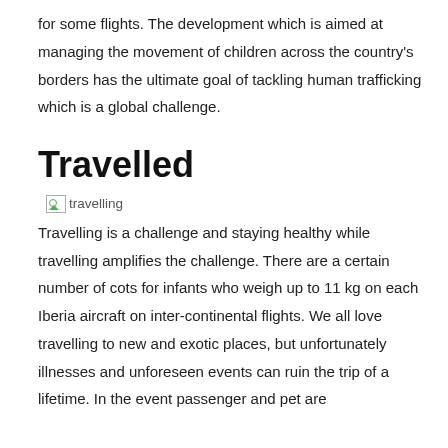for some flights. The development which is aimed at managing the movement of children across the country's borders has the ultimate goal of tackling human trafficking which is a global challenge.
Travelled
[Figure (photo): Broken image placeholder with alt text 'travelling']
Travelling is a challenge and staying healthy while travelling amplifies the challenge. There are a certain number of cots for infants who weigh up to 11 kg on each Iberia aircraft on inter-continental flights. We all love travelling to new and exotic places, but unfortunately illnesses and unforeseen events can ruin the trip of a lifetime. In the event passenger and pet are